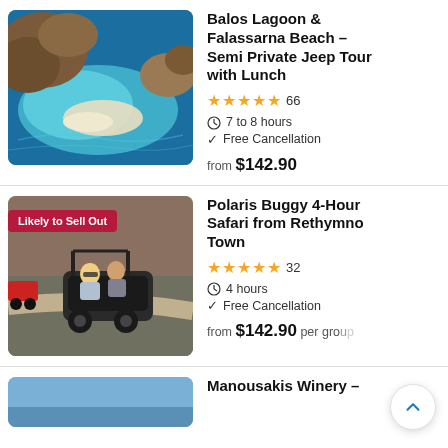[Figure (photo): Aerial view of Balos Lagoon showing turquoise water, white sand, and rocky terrain in Crete, Greece]
Balos Lagoon & Falassarna Beach - Semi Private Jeep Tour with Lunch
★★★★★ 66
⏱ 7 to 8 hours
✓ Free Cancellation
from $142.90
[Figure (photo): Two people riding a Polaris buggy off-road vehicle on a dirt road, woman with blonde hair in foreground]
Polaris Buggy 4-Hour Safari from Rethymno Town
★★★★½ 32
⏱ 4 hours
✓ Free Cancellation
from $142.90 per group
[Figure (photo): Partial view of Manousakis Winery listing showing blue sky background]
Manousakis Winery –